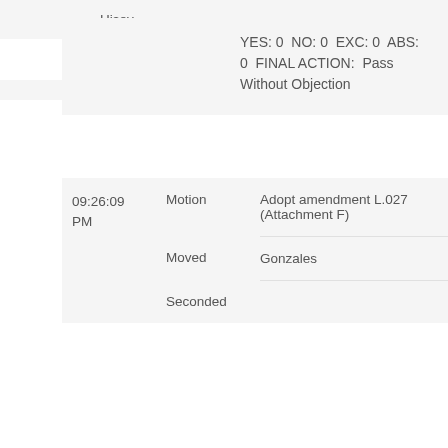YES: 0  NO: 0  EXC: 0  ABS: 0  FINAL ACTION:  Pass Without Objection
| Time | Type | Detail |
| --- | --- | --- |
| 09:26:09 PM | Motion | Adopt amendment L.027 (Attachment F) |
|  | Moved | Gonzales |
|  | Seconded |  |
Hisey
Lee